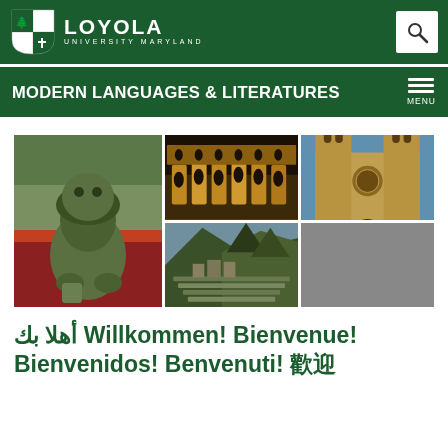LOYOLA UNIVERSITY MARYLAND - Modern Languages & Literatures
[Figure (photo): Collage of four world landmark photos: Chinese guardian lion statue (Forbidden City), Roman Colosseum at night, Machu Picchu ruins, and Notre-Dame Cathedral facade]
أهلا بك Willkommen! Bienvenue! Bienvenidos! Benvenuti! 歡迎